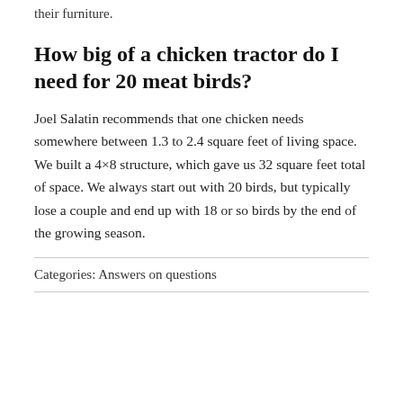their furniture.
How big of a chicken tractor do I need for 20 meat birds?
Joel Salatin recommends that one chicken needs somewhere between 1.3 to 2.4 square feet of living space. We built a 4×8 structure, which gave us 32 square feet total of space. We always start out with 20 birds, but typically lose a couple and end up with 18 or so birds by the end of the growing season.
Categories: Answers on questions